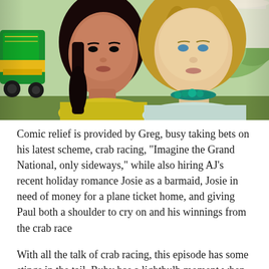[Figure (photo): Two women posed together against an outdoor background. On the left, a younger woman with dark hair wearing a yellow outfit. On the right, an older blonde woman wearing a light blue/mint top with a teal beaded necklace. Background shows a tuk-tuk vehicle and a white colonial-style building.]
Comic relief is provided by Greg, busy taking bets on his latest scheme, crab racing, "Imagine the Grand National, only sideways," while also hiring AJ's recent holiday romance Josie as a barmaid, Josie in need of money for a plane ticket home, and giving Paul both a shoulder to cry on and his winnings from the crab race
With all the talk of crab racing, this episode has some stings in the tail. Ruby has a lightbulb moment when she realises Varma has feelings for her. The heat and an angry tirade from Paul causes Maggie to collapse and be rushed